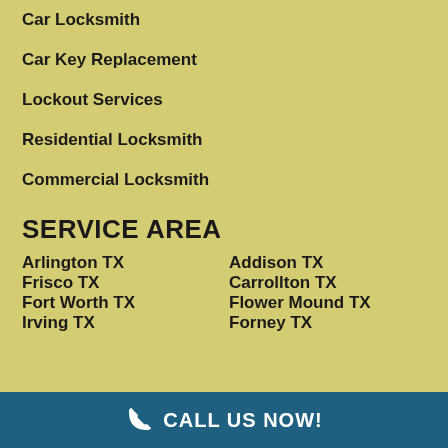Car Locksmith
Car Key Replacement
Lockout Services
Residential Locksmith
Commercial Locksmith
SERVICE AREA
Arlington TX
Addison TX
Frisco TX
Carrollton TX
Fort Worth TX
Flower Mound TX
Irving TX
Forney TX
CALL US NOW!